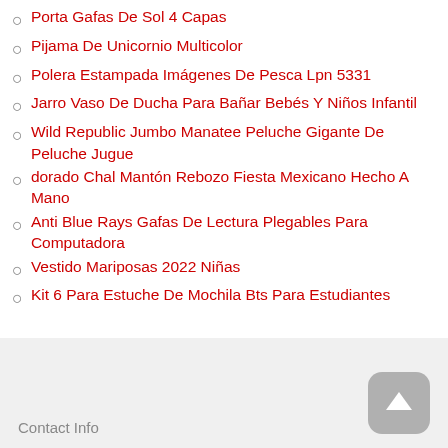Porta Gafas De Sol 4 Capas
Pijama De Unicornio Multicolor
Polera Estampada Imágenes De Pesca Lpn 5331
Jarro Vaso De Ducha Para Bañar Bebés Y Niños Infantil
Wild Republic Jumbo Manatee Peluche Gigante De Peluche Jugue
dorado Chal Mantón Rebozo Fiesta Mexicano Hecho A Mano
Anti Blue Rays Gafas De Lectura Plegables Para Computadora
Vestido Mariposas 2022 Niñas
Kit 6 Para Estuche De Mochila Bts Para Estudiantes
Contact Info